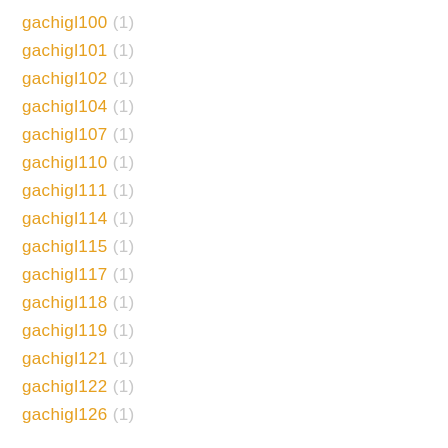gachigl100 (1)
gachigl101 (1)
gachigl102 (1)
gachigl104 (1)
gachigl107 (1)
gachigl110 (1)
gachigl111 (1)
gachigl114 (1)
gachigl115 (1)
gachigl117 (1)
gachigl118 (1)
gachigl119 (1)
gachigl121 (1)
gachigl122 (1)
gachigl126 (1)